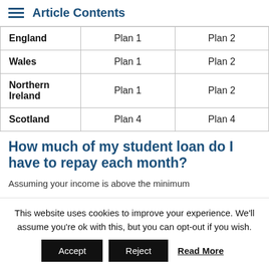Article Contents
| England | Plan 1 | Plan 2 |
| Wales | Plan 1 | Plan 2 |
| Northern Ireland | Plan 1 | Plan 2 |
| Scotland | Plan 4 | Plan 4 |
How much of my student loan do I have to repay each month?
Assuming your income is above the minimum
This website uses cookies to improve your experience. We'll assume you're ok with this, but you can opt-out if you wish.